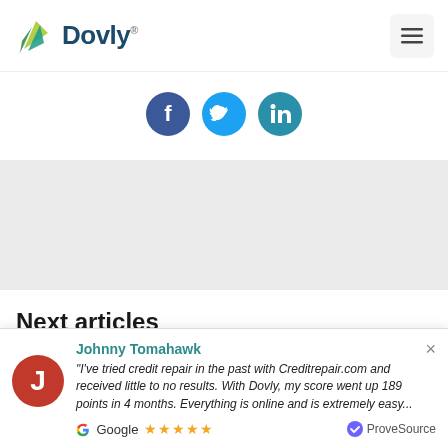[Figure (logo): Dovly logo with bird/leaf icon and dark blue wordmark]
[Figure (infographic): Social media icons: Facebook (dark blue circle), Twitter (light blue circle), LinkedIn (teal circle)]
[Figure (other): Gray advertisement/placeholder block]
Next articles
"I've tried credit repair in the past with Creditrepair.com and received little to no results. With Dovly, my score went up 189 points in 4 months. Everything is online and is extremely easy...
Johnny Tomahawk
Google ★★★★★
ProveSource